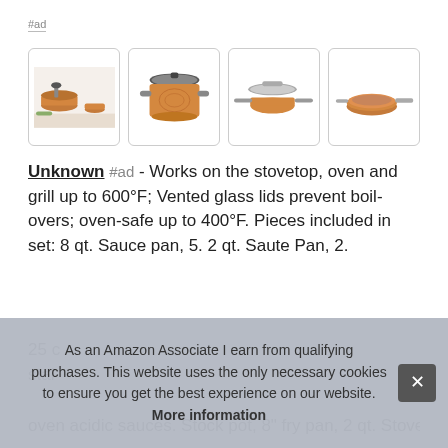#ad
[Figure (photo): Four product images of copper cookware set: full set photo, large stockpot with lid, saute pan with lid, and open frying pan]
Unknown #ad - Works on the stovetop, oven and grill up to 600°F; Vented glass lids prevent boil-overs; oven-safe up to 400°F. Pieces included in set: 8 qt. Sauce pan, 5. 2 qt. Saute Pan, 2.
25 c... stai...
oven acidic sauces. Stock pot, 8" fry pan, 2 qt. Stove type...
As an Amazon Associate I earn from qualifying purchases. This website uses the only necessary cookies to ensure you get the best experience on our website. More information